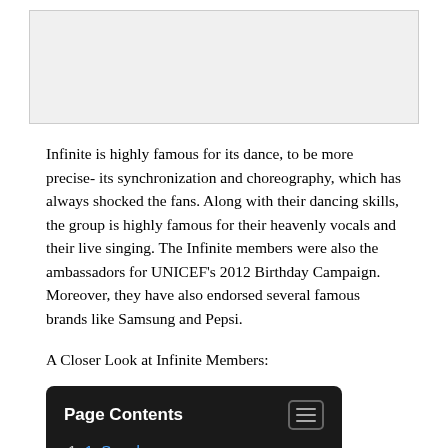[Figure (photo): Image placeholder at top of page]
Infinite is highly famous for its dance, to be more precise- its synchronization and choreography, which has always shocked the fans. Along with their dancing skills, the group is highly famous for their heavenly vocals and their live singing. The Infinite members were also the ambassadors for UNICEF's 2012 Birthday Campaign. Moreover, they have also endorsed several famous brands like Samsung and Pepsi.
A Closer Look at Infinite Members:
Page Contents
1. Sungkyu
2. Dongwoo
3. Woohyun (partially visible)